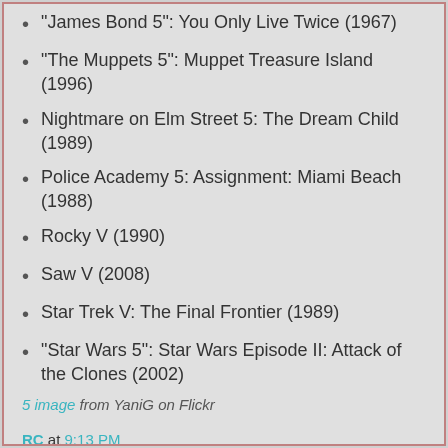"James Bond 5": You Only Live Twice (1967)
"The Muppets 5": Muppet Treasure Island (1996)
Nightmare on Elm Street 5: The Dream Child (1989)
Police Academy 5: Assignment: Miami Beach (1988)
Rocky V (1990)
Saw V (2008)
Star Trek V: The Final Frontier (1989)
"Star Wars 5": Star Wars Episode II: Attack of the Clones (2002)
5 image from YaniG on Flickr
RC at 9:13 PM
Share